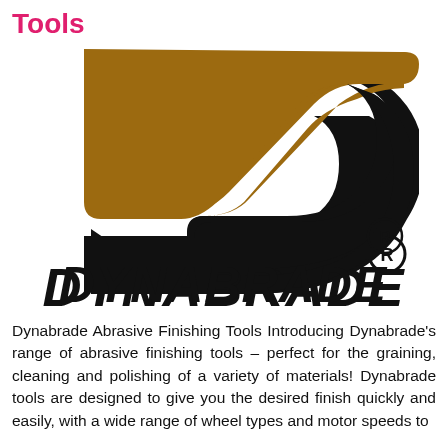Tools
[Figure (logo): Dynabrade logo: stylized S-shaped swoosh in brown (upper) and black (lower) with registered trademark symbol, and bold italic DYNABRADE wordmark below]
Dynabrade Abrasive Finishing Tools Introducing Dynabrade's range of abrasive finishing tools – perfect for the graining, cleaning and polishing of a variety of materials! Dynabrade tools are designed to give you the desired finish quickly and easily, with a wide range of wheel types and motor speeds to